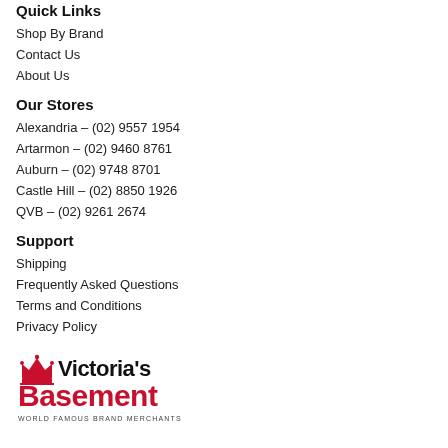Quick Links
Shop By Brand
Contact Us
About Us
Our Stores
Alexandria – (02) 9557 1954
Artarmon – (02) 9460 8761
Auburn – (02) 9748 8701
Castle Hill – (02) 8850 1926
QVB – (02) 9261 2674
Support
Shipping
Frequently Asked Questions
Terms and Conditions
Privacy Policy
[Figure (logo): Victoria's Basement logo with crown icon. Text: Victoria's Basement, WORLD FAMOUS BRAND MERCHANTS]